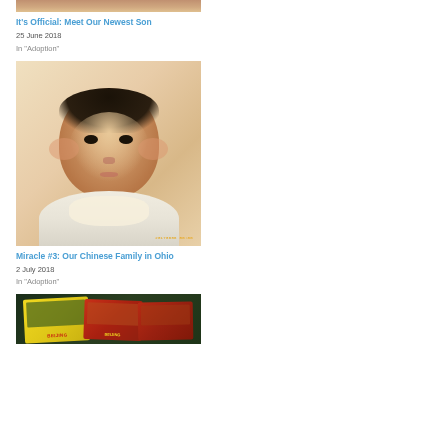[Figure (photo): Partial top of a photo showing a baby, cropped at the top of the page]
It's Official: Meet Our Newest Son
25 June 2018
In "Adoption"
[Figure (photo): Close-up photo of a chubby Asian baby with dark hair, looking directly at camera, wrapped in white fabric. Photo has orange timestamp '20170606 08:88' in bottom right corner.]
Miracle #3: Our Chinese Family in Ohio
2 July 2018
In "Adoption"
[Figure (photo): Partial photo showing Beijing souvenir postcards/stickers on a dark background, with 'BEIJING' text visible in yellow and red]